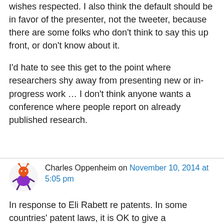wishes respected. I also think the default should be in favor of the presenter, not the tweeter, because there are some folks who don't think to say this up front, or don't know about it.
I'd hate to see this get to the point where researchers shy away from presenting new or in-progress work … I don't think anyone wants a conference where people report on already published research.
Charles Oppenheim on November 10, 2014 at 5:05 pm
In response to Eli Rabett re patents. In some countries' patent laws, it is OK to give a presentation at a technical conference, apply for